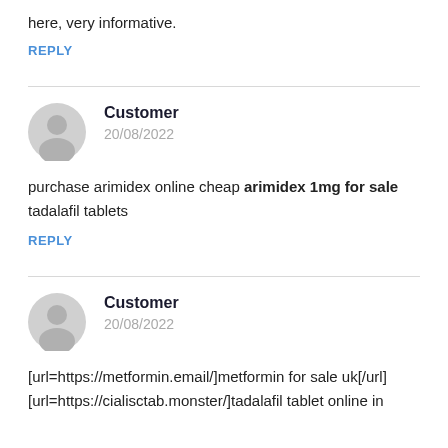here, very informative.
REPLY
Customer
20/08/2022
purchase arimidex online cheap arimidex 1mg for sale tadalafil tablets
REPLY
Customer
20/08/2022
[url=https://metformin.email/]metformin for sale uk[/url] [url=https://cialisctab.monster/]tadalafil tablet online in